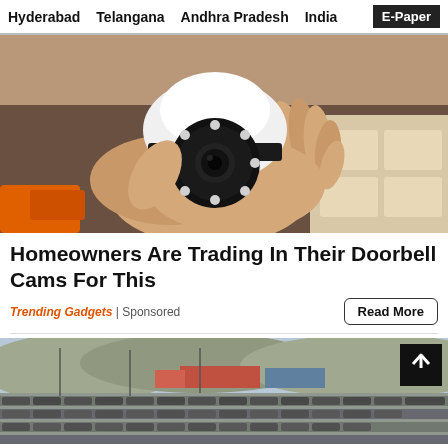Hyderabad   Telangana   Andhra Pradesh   India   E-Paper
[Figure (photo): A hand holding a small white dome-shaped security camera with LED ring, against a blurred warehouse/workbench background]
Homeowners Are Trading In Their Doorbell Cams For This
Trending Gadgets | Sponsored
Read More
[Figure (photo): Aerial/ground view of a large parking lot filled with cars, industrial area visible in background, back-to-top arrow button overlay]